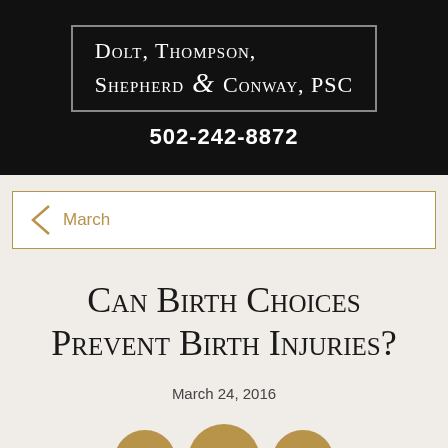Dolt, Thompson, Shepherd & Conway, PSC
502-242-8872
March
Can Birth Choices Prevent Birth Injuries?
March 24, 2016
[Figure (other): Social media icons: Facebook, hamburger menu, LinkedIn, partially visible fourth icon]